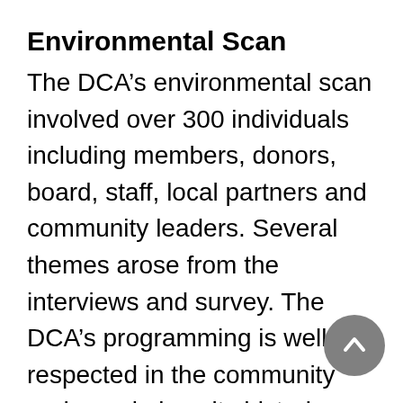Environmental Scan
The DCA’s environmental scan involved over 300 individuals including members, donors, board, staff, local partners and community leaders. Several themes arose from the interviews and survey. The DCA’s programming is well respected in the community and people love its historic house and grounds. The Thrift Shop is a large source of income and helps support the DCA mission, including significant scholarship funding to Darien High